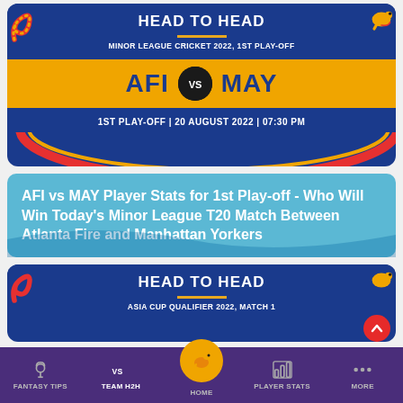HEAD TO HEAD
MINOR LEAGUE CRICKET 2022, 1ST PLAY-OFF
AFI vs MAY
1ST PLAY-OFF | 20 AUGUST 2022 | 07:30 PM
AFI vs MAY Player Stats for 1st Play-off - Who Will Win Today's Minor League T20 Match Between Atlanta Fire and Manhattan Yorkers
HEAD TO HEAD
ASIA CUP QUALIFIER 2022, MATCH 1
FANTASY TIPS  TEAM H2H  HOME  PLAYER STATS  MORE